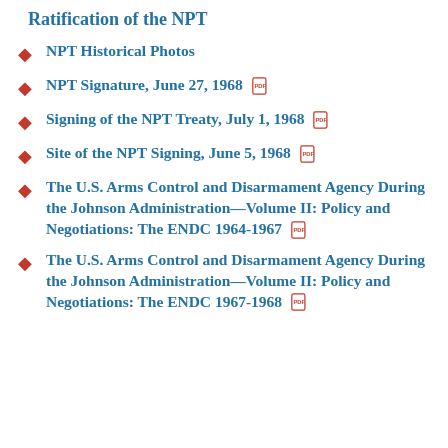Ratification of the NPT
NPT Historical Photos
NPT Signature, June 27, 1968 [pdf]
Signing of the NPT Treaty, July 1, 1968 [pdf]
Site of the NPT Signing, June 5, 1968 [pdf]
The U.S. Arms Control and Disarmament Agency During the Johnson Administration—Volume II: Policy and Negotiations: The ENDC 1964-1967 [pdf]
The U.S. Arms Control and Disarmament Agency During the Johnson Administration—Volume II: Policy and Negotiations: The ENDC 1967-1968 [pdf]